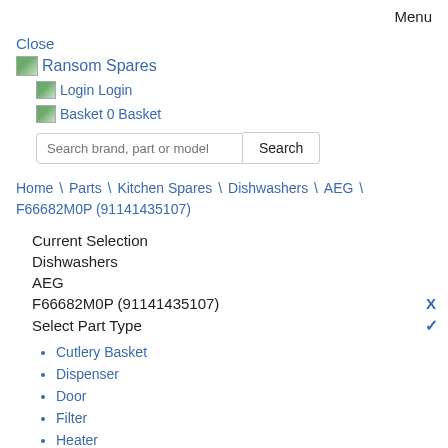Menu
Close
[Figure (logo): Ransom Spares logo with icon and text]
Login Login
Basket 0 Basket
Search brand, part or model  [Search button]
Home \ Parts \ Kitchen Spares \ Dishwashers \ AEG \ F66682M0P (91141435107)
Current Selection
Dishwashers
AEG
F66682M0P (91141435107)
Select Part Type
Cutlery Basket
Dispenser
Door
Filter
Heater
Hinge